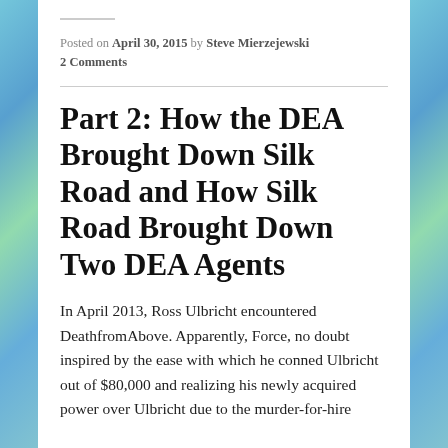Posted on April 30, 2015 by Steve Mierzejewski
2 Comments
Part 2: How the DEA Brought Down Silk Road and How Silk Road Brought Down Two DEA Agents
In April 2013, Ross Ulbricht encountered DeathfromAbove. Apparently, Force, no doubt inspired by the ease with which he conned Ulbricht out of $80,000 and realizing his newly acquired power over Ulbricht due to the murder-for-hire